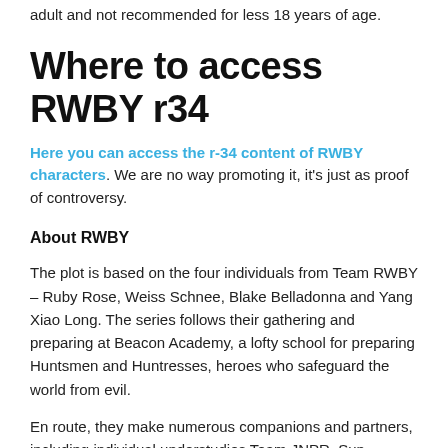adult and not recommended for less 18 years of age.
Where to access RWBY r34
Here you can access the r-34 content of RWBY characters. We are no way promoting it, it's just as proof of controversy.
About RWBY
The plot is based on the four individuals from Team RWBY – Ruby Rose, Weiss Schnee, Blake Belladonna and Yang Xiao Long. The series follows their gathering and preparing at Beacon Academy, a lofty school for preparing Huntsmen and Huntresses, heroes who safeguard the world from evil.
En route, they make numerous companions and partners, including individual understudies Team JNPR, Sun Wukong and Penny Polendina, and foil the plots of lowlifes, for